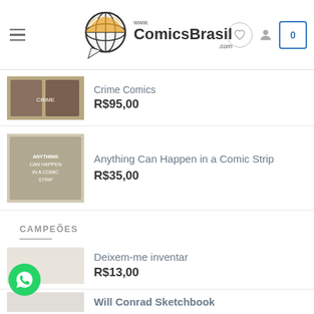www.ComicsBrasil.com
Crime Comics R$95,00
Anything Can Happen in a Comic Strip R$35,00
CAMPEÕES
Deixem-me inventar R$13,00
Will Conrad Sketchbook R$30,00